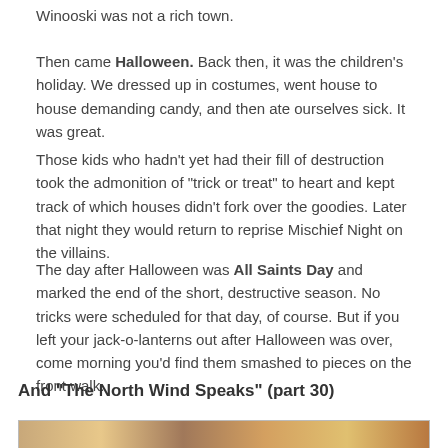Winooski was not a rich town.
Then came Halloween. Back then, it was the children's holiday. We dressed up in costumes, went house to house demanding candy, and then ate ourselves sick. It was great.
Those kids who hadn't yet had their fill of destruction took the admonition of "trick or treat" to heart and kept track of which houses didn't fork over the goodies. Later that night they would return to reprise Mischief Night on the villains.
The day after Halloween was All Saints Day and marked the end of the short, destructive season. No tricks were scheduled for that day, of course. But if you left your jack-o-lanterns out after Halloween was over, come morning you'd find them smashed to pieces on the front walk.
And "The North Wind Speaks" (part 30)
[Figure (photo): A strip of photos at the bottom of the page, partially visible]